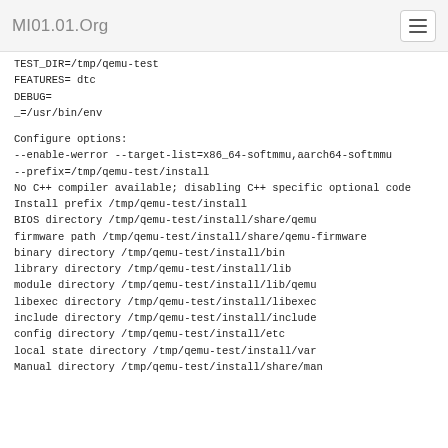MI01.01.Org
TEST_DIR=/tmp/qemu-test
FEATURES= dtc
DEBUG=
_=/usr/bin/env

Configure options:
--enable-werror --target-list=x86_64-softmmu,aarch64-softmmu
--prefix=/tmp/qemu-test/install
No C++ compiler available; disabling C++ specific optional code
Install prefix /tmp/qemu-test/install
BIOS directory /tmp/qemu-test/install/share/qemu
firmware path /tmp/qemu-test/install/share/qemu-firmware
binary directory /tmp/qemu-test/install/bin
library directory /tmp/qemu-test/install/lib
module directory /tmp/qemu-test/install/lib/qemu
libexec directory /tmp/qemu-test/install/libexec
include directory /tmp/qemu-test/install/include
config directory /tmp/qemu-test/install/etc
local state directory /tmp/qemu-test/install/var
Manual directory /tmp/qemu-test/install/share/man